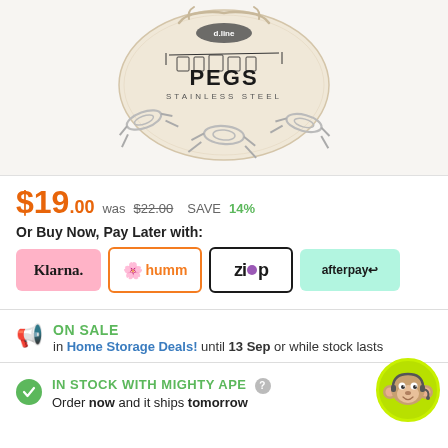[Figure (photo): Product photo: a cream/natural cotton drawstring bag labeled 'd.line PEGS STAINLESS STEEL' with several stainless steel wire pegs/clips in front of it on a light background.]
$19.00 was $22.00 SAVE 14%
Or Buy Now, Pay Later with:
[Figure (logo): Payment logos: Klarna (pink), humm (orange outline), Zip (black outline with purple dot), Afterpay (mint green)]
ON SALE in Home Storage Deals! until 13 Sep or while stock lasts
IN STOCK WITH MIGHTY APE — Order now and it ships tomorrow